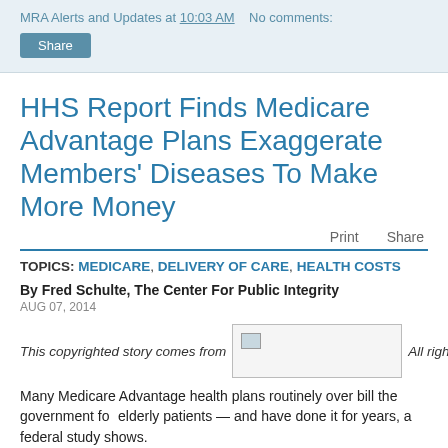MRA Alerts and Updates at 10:03 AM   No comments:
Share
HHS Report Finds Medicare Advantage Plans Exaggerate Members' Diseases To Make More Money
Print   Share
TOPICS: MEDICARE, DELIVERY OF CARE, HEALTH COSTS
By Fred Schulte, The Center For Public Integrity
AUG 07, 2014
[Figure (photo): Broken/missing image placeholder inline with copyright text]
This copyrighted story comes from   All rights reserved.
Many Medicare Advantage health plans routinely over bill the government for elderly patients — and have done it for years, a federal study shows.
Premiums at Medicare Advantage...